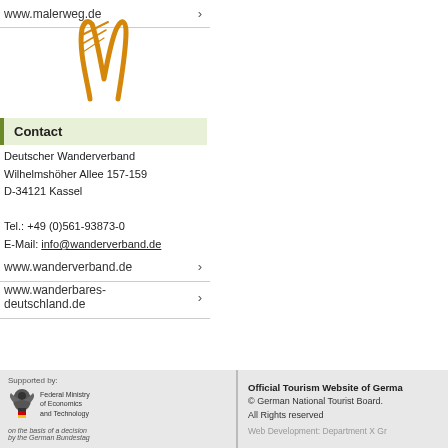www.malerweg.de
[Figure (logo): Stylized orange M logo for Malerweg]
Contact
Deutscher Wanderverband
Wilhelmshöher Allee 157-159
D-34121 Kassel

Tel.: +49 (0)561-93873-0
E-Mail: info@wanderverband.de
www.wanderverband.de
www.wanderbares-deutschland.de
Supported by: Federal Ministry of Economics and Technology — on the basis of a decision by the German Bundestag | Official Tourism Website of Germany. © German National Tourist Board. All Rights reserved. Web Development: Department X Gr